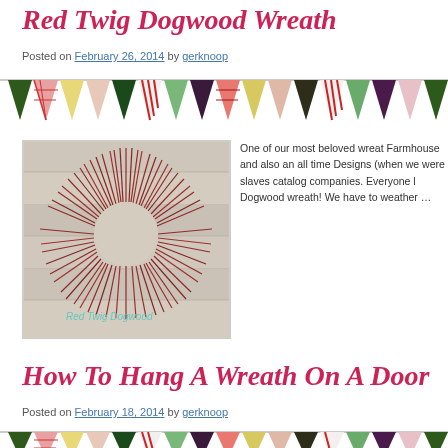Red Twig Dogwood Wreath
Posted on February 26, 2014 by gerknoop
[Figure (illustration): Decorative bunting banner with triangular flags in red, green, plaid, and floral patterns]
[Figure (photo): Photo of a Red Twig Dogwood Wreath made of dark red twigs arranged in a circular wreath form against a white wood background, with teal text watermark 'Red Twig Dogwood']
One of our most beloved wreath Farmhouse and also an all time Designs (when we were slaves catalog companies. Everyone l Dogwood wreath! We have to weather …
How To Hang A Wreath On A Door
Posted on February 18, 2014 by gerknoop
[Figure (illustration): Decorative bunting banner with triangular flags in red, green, plaid, and floral patterns]